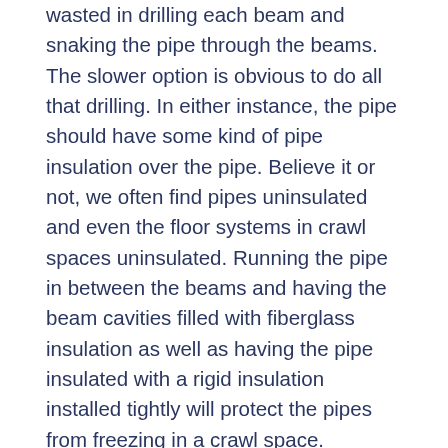wasted in drilling each beam and snaking the pipe through the beams. The slower option is obvious to do all that drilling. In either instance, the pipe should have some kind of pipe insulation over the pipe. Believe it or not, we often find pipes uninsulated and even the floor systems in crawl spaces uninsulated. Running the pipe in between the beams and having the beam cavities filled with fiberglass insulation as well as having the pipe insulated with a rigid insulation installed tightly will protect the pipes from freezing in a crawl space.
Another safe practice for pipe installation is to “never”, as in never ever, run a pipe in an exterior wall, a soffit or an overhang. I laugh at